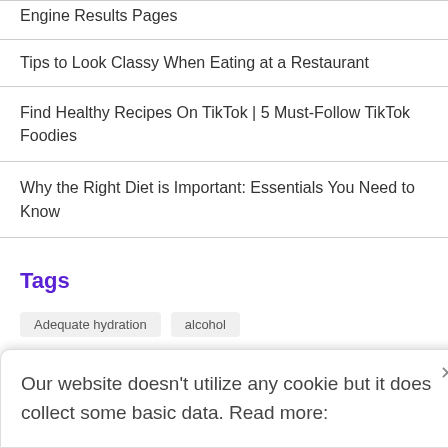Engine Results Pages
Tips to Look Classy When Eating at a Restaurant
Find Healthy Recipes On TikTok | 5 Must-Follow TikTok Foodies
Why the Right Diet is Important: Essentials You Need to Know
Tags
Adequate hydration   alcohol
Our website doesn't utilize any cookie but it does collect some basic data. Read more: